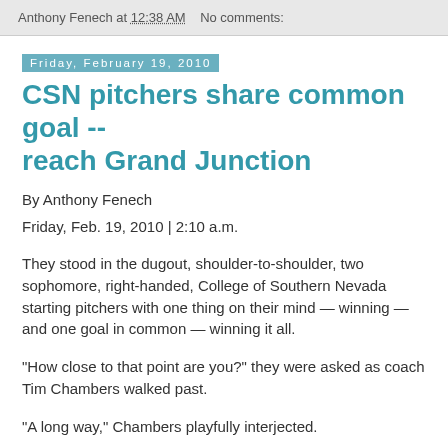Anthony Fenech at 12:38 AM   No comments:
Friday, February 19, 2010
CSN pitchers share common goal -- reach Grand Junction
By Anthony Fenech
Friday, Feb. 19, 2010 | 2:10 a.m.
They stood in the dugout, shoulder-to-shoulder, two sophomore, right-handed, College of Southern Nevada starting pitchers with one thing on their mind — winning — and one goal in common — winning it all.
"How close to that point are you?" they were asked as coach Tim Chambers walked past.
"A long way," Chambers playfully interjected.
And then the other similarities ended.